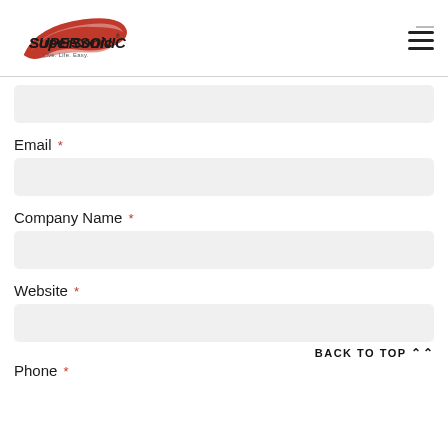[Figure (logo): SuperSonic logo with red swoosh and tagline 'Live. Life. Easy.']
[Input field - partially visible at top]
Email *
[Email input field]
Company Name *
[Company Name input field]
Website *
[Website input field]
BACK TO TOP ^^
Phone *